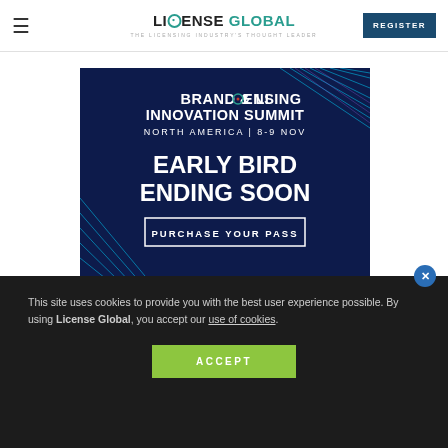LICENSE GLOBAL — THE LICENSING INDUSTRY'S THOUGHT LEADER | REGISTER
[Figure (infographic): Brand & Licensing Innovation Summit North America | 8-9 Nov — Early Bird Ending Soon — Purchase Your Pass. Dark navy blue background with cyan/purple decorative geometric lines.]
This site uses cookies to provide you with the best user experience possible. By using License Global, you accept our use of cookies.
ACCEPT